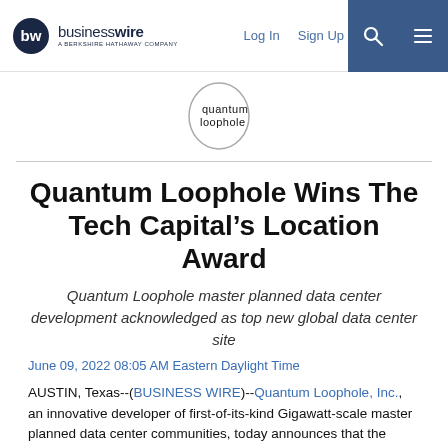businesswire - A Berkshire Hathaway Company | Log In | Sign Up
[Figure (logo): Quantum Loophole company logo — oval shape with 'quantum loophole' text]
Quantum Loophole Wins The Tech Capital’s Location Award
Quantum Loophole master planned data center development acknowledged as top new global data center site
June 09, 2022 08:05 AM Eastern Daylight Time
AUSTIN, Texas--(BUSINESS WIRE)--Quantum Loophole, Inc., an innovative developer of first-of-its-kind Gigawatt-scale master planned data center communities, today announces that the company has won the Location Award 2022 in the first edition of